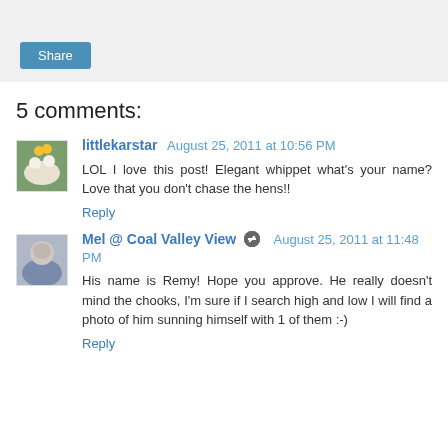[Figure (other): Share button on grey bar]
5 comments:
littlekarstar  August 25, 2011 at 10:56 PM
LOL I love this post! Elegant whippet what's your name? Love that you don't chase the hens!!
Reply
Mel @ Coal Valley View  August 25, 2011 at 11:48 PM
His name is Remy! Hope you approve. He really doesn't mind the chooks, I'm sure if I search high and low I will find a photo of him sunning himself with 1 of them :-)
Reply